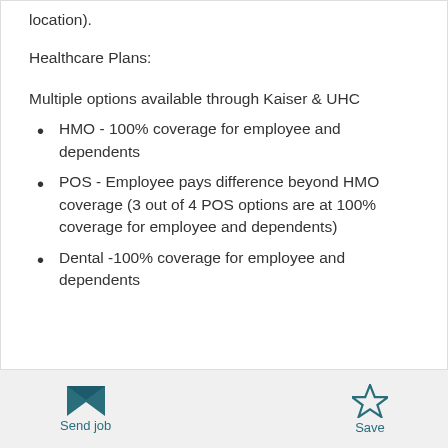location).
Healthcare Plans:
Multiple options available through Kaiser & UHC
HMO - 100% coverage for employee and dependents
POS - Employee pays difference beyond HMO coverage (3 out of 4 POS options are at 100% coverage for employee and dependents)
Dental -100% coverage for employee and dependents
Send job  Save